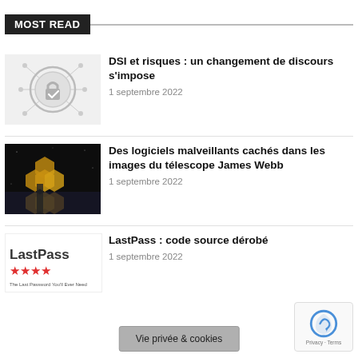MOST READ
[Figure (illustration): Security lock badge with checkmark icon, grey circular medallion with network/nodes pattern]
DSI et risques : un changement de discours s'impose
1 septembre 2022
[Figure (photo): Dark image of James Webb Space Telescope with gold hexagonal mirror segments against black space background]
Des logiciels malveillants cachés dans les images du télescope James Webb
1 septembre 2022
[Figure (logo): LastPass logo with red star ratings — 'LastPass' text with four red stars, tagline 'The Last Password You'll Ever Need']
LastPass : code source dérobé
1 septembre 2022
Vie privée & cookies